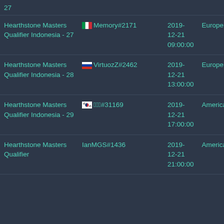| Tournament | Player | Date | Region | Status |
| --- | --- | --- | --- | --- |
| Hearthstone Masters Qualifier Indonesia - 27 | 🇮🇹 Memory#2171 | 2019-12-21 09:00:00 | Europe | sta |
| Hearthstone Masters Qualifier Indonesia - 28 | 🇷🇺 VirtuozZ#2462 | 2019-12-21 13:00:00 | Europe | sta |
| Hearthstone Masters Qualifier Indonesia - 29 | 🇰🇷 ???#31169 | 2019-12-21 17:00:00 | Americas | sta |
| Hearthstone Masters Qualifier | IanMGS#1436 | 2019-12-21 21:00:00 | Americas | sta |